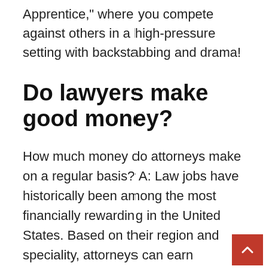Apprentice," where you compete against others in a high-pressure setting with backstabbing and drama!
Do lawyers make good money?
How much money do attorneys make on a regular basis? A: Law jobs have historically been among the most financially rewarding in the United States. Based on their region and speciality, attorneys can earn upwards of $200,000 per year, which is significantly higher than the average salary in most other occupations in the United States.